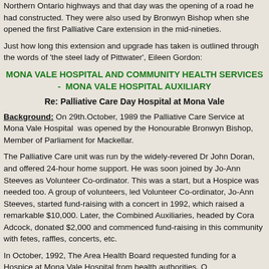Northern Ontario highways and that day was the opening of a road he had constructed. They were also used by Bronwyn Bishop when she opened the first Palliative Care extension in the mid-nineties.
Just how long this extension and upgrade has taken is outlined through the words of 'the steel lady of Pittwater', Eileen Gordon:
MONA VALE HOSPITAL AND COMMUNITY HEALTH SERVICES -  MONA VALE HOSPITAL AUXILIARY
Re: Palliative Care Day Hospital at Mona Vale
Background: On 29th.October, 1989 the Palliative Care Service at Mona Vale Hospital  was opened by the Honourable Bronwyn Bishop, Member of Parliament for Mackellar.
The Palliative Care unit was run by the widely-revered Dr John Doran, and offered 24-hour home support. He was soon joined by Jo-Ann Steeves as Volunteer Co-ordinator. This was a start, but a Hospice was needed too. A group of volunteers, led Volunteer Co-ordinator, Jo-Ann Steeves, started fund-raising with a concert in 1992, which raised a remarkable $10,000. Later, the Combined Auxiliaries, headed by Cora Adcock, donated $2,000 and commenced fund-raising in this community with fetes, raffles, concerts, etc.
In October, 1992, The Area Health Board requested funding for a Hospice at Mona Vale Hospital from health authorities. O...